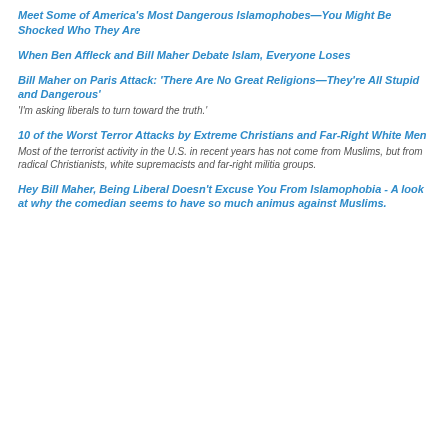Meet Some of America's Most Dangerous Islamophobes—You Might Be Shocked Who They Are
When Ben Affleck and Bill Maher Debate Islam, Everyone Loses
Bill Maher on Paris Attack: 'There Are No Great Religions—They're All Stupid and Dangerous'
'I'm asking liberals to turn toward the truth.'
10 of the Worst Terror Attacks by Extreme Christians and Far-Right White Men
Most of the terrorist activity in the U.S. in recent years has not come from Muslims, but from radical Christianists, white supremacists and far-right militia groups.
Hey Bill Maher, Being Liberal Doesn't Excuse You From Islamophobia - A look at why the comedian seems to have so much animus against Muslims.